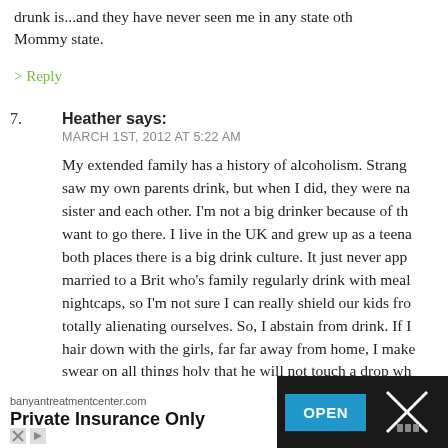drunk is...and they have never seen me in any state other than Mommy state.
> Reply
7. Heather says:
MARCH 1ST, 2012 AT 5:22 AM
My extended family has a history of alcoholism. Strange...saw my own parents drink, but when I did, they were na...sister and each other. I'm not a big drinker because of th...want to go there. I live in the UK and grew up as a teena...both places there is a big drink culture. It just never app...married to a Brit who's family regularly drink with mea...nightcaps, so I'm not sure I can really shield our kids fro...totally alienating ourselves. So, I abstain from drink. If I...hair down with the girls, far far away from home, I make...swear on all things holy that he will not touch a drop wh...of the children. I can't imagine being in a situation wher...were in danger and I wasn't completely in control. And t...
[Figure (infographic): Advertisement bar at bottom: banyantreatmentcenter.com, Private Insurance Only, OPEN button]